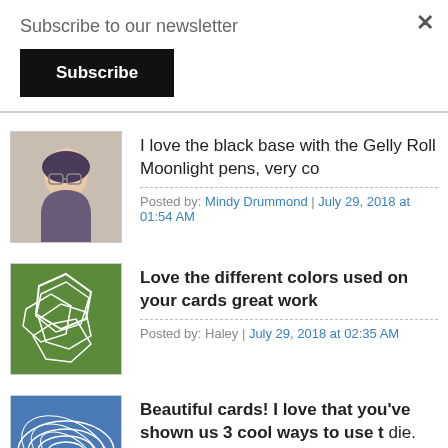Subscribe to our newsletter
Subscribe
I love the black base with the Gelly Roll Moonlight pens, very co
Posted by: Mindy Drummond | July 29, 2018 at 01:54 AM
Love the different colors used on your cards great work
Posted by: Haley | July 29, 2018 at 02:35 AM
Beautiful cards! I love that you've shown us 3 cool ways to use t die.
Posted by: Carol Jones | July 29, 2018 at 02:36 AM
Beautiful cards! Love these new dies and the colors you used!
Posted by: Leslie Kiley | July 29, 2018 at 03:12 AM